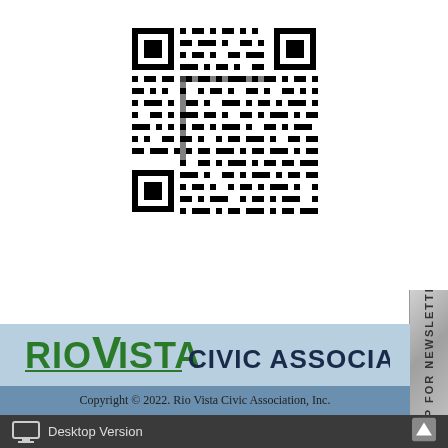[Figure (other): QR code image for newsletter sign-up]
[Figure (other): Sidebar tab reading SIGN UP FOR NEWSLETTER (rotated vertical text)]
[Figure (logo): Rio Vista Civic Association, Inc. logo in light blue band]
Copyright © 2022. Rio Vista Civic Association, Inc.
Desktop Version